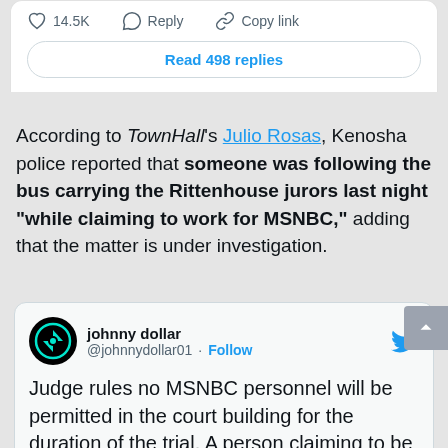[Figure (screenshot): Top portion of a tweet card showing like count (14.5K), Reply, Copy link actions and a 'Read 498 replies' button]
According to TownHall's Julio Rosas, Kenosha police reported that someone was following the bus carrying the Rittenhouse jurors last night “while claiming to work for MSNBC,” adding that the matter is under investigation.
[Figure (screenshot): Embedded tweet from johnny dollar (@johnnydollar01) with Follow button and Twitter bird logo. Tweet text: Judge rules no MSNBC personnel will be permitted in the court building for the duration of the trial. A person claiming to be an MSNBC]